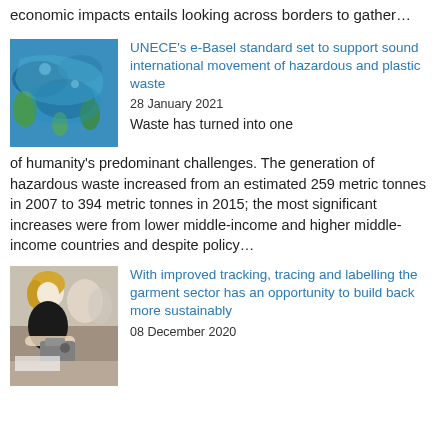economic impacts entails looking across borders to gather…
[Figure (photo): Close-up photo of blue and green plastic waste/debris]
UNECE's e-Basel standard set to support sound international movement of hazardous and plastic waste
28 January 2021
Waste has turned into one of humanity's predominant challenges. The generation of hazardous waste increased from an estimated 259 metric tonnes in 2007 to 394 metric tonnes in 2015; the most significant increases were from lower middle-income and higher middle-income countries and despite policy…
[Figure (photo): Photo of a woman working at a sewing machine in a garment factory]
With improved tracking, tracing and labelling the garment sector has an opportunity to build back more sustainably
08 December 2020